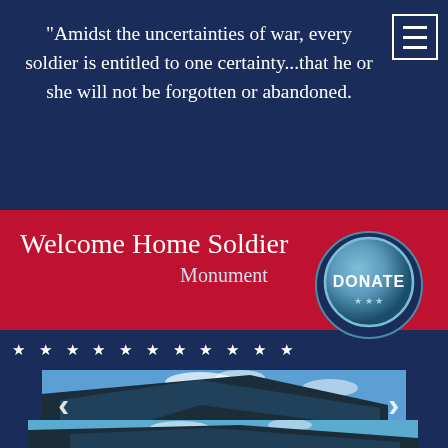"Amidst the uncertainties of war, every soldier is entitled to one certainty...that he or she will not be forgotten or abandoned.
Welcome Home Soldier
Monument
★ ★ ★ ★ ★ ★ ★ ★ ★ ★ ★
DONATE
[Figure (photo): Exterior photograph of a large modern building with a curved blue glass roof under a blue sky with clouds, with navigation arrows (< >) overlaid]
[Figure (photo): Second exterior photograph of the same modern building with curved blue glass facade, partially visible at bottom of page]